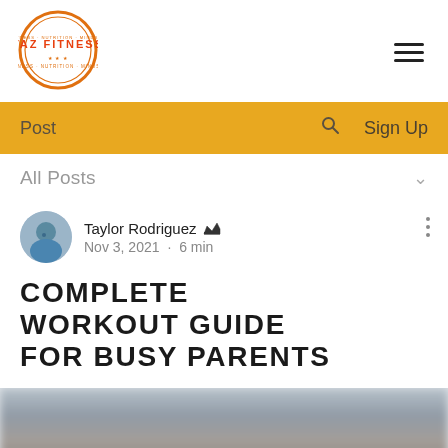[Figure (logo): TAZ FITNESS circular logo with orange border and text]
Post   Search   Sign Up
All Posts
Taylor Rodriguez  Admin
Nov 3, 2021 · 6 min
COMPLETE WORKOUT GUIDE FOR BUSY PARENTS
[Figure (photo): Blurred hero image at bottom of page]